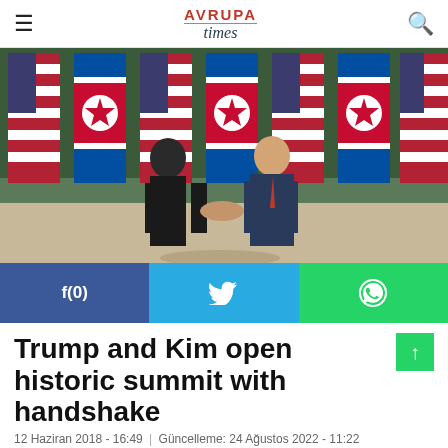AVRUPA times
[Figure (photo): Trump and Kim Jong-un shaking hands in front of US and North Korean flags at their historic summit meeting]
f(0)  [Twitter icon]  [WhatsApp icon]
Trump and Kim open historic summit with handshake
12 Haziran 2018 - 16:49 | Güncelleme: 24 Ağustos 2022 - 11:22